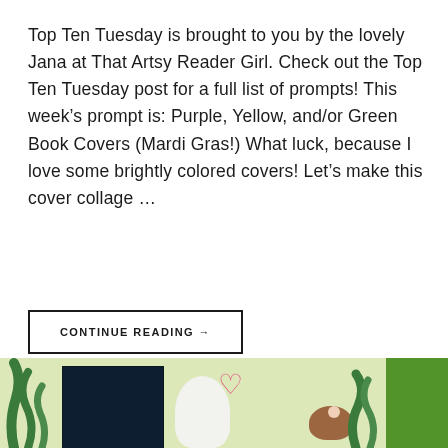Top Ten Tuesday is brought to you by the lovely Jana at That Artsy Reader Girl. Check out the Top Ten Tuesday post for a full list of prompts! This week's prompt is: Purple, Yellow, and/or Green Book Covers (Mardi Gras!) What luck, because I love some brightly colored covers! Let's make this cover collage …
CONTINUE READING →
[Figure (illustration): Bottom strip showing book covers and illustrated characters including seaweed, a white creature, a pink heart, and a brown critter against a light green/cream background with a dark green panel on the right.]